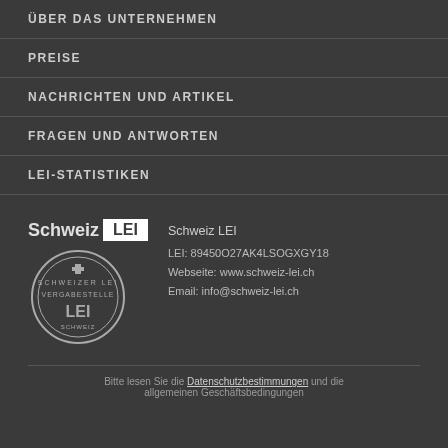ÜBER DAS UNTERNEHMEN
PREISE
NACHRICHTEN UND ARTIKEL
FRAGEN UND ANTWORTEN
LEI-STATISTIKEN
[Figure (logo): Schweiz LEI logo with Swiss cross seal]
Schweiz LEI
LEI: 89450O27AK4LSOGXGY18
Webseite: www.schweiz-lei.ch
Email: info@schweiz-lei.ch
Bitte lesen Sie die Datenschutzbestimmungen und die ...